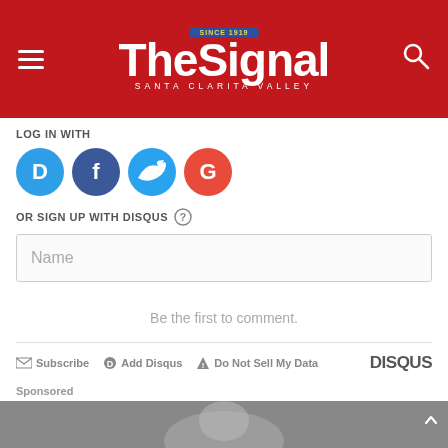The Signal – Santa Clarita Valley
LOG IN WITH
[Figure (logo): Social login icons: Disqus (blue), Facebook (dark blue), Twitter (light blue), Google (red)]
OR SIGN UP WITH DISQUS ?
Name
Be the first to comment.
Subscribe   Add Disqus   Do Not Sell My Data   DISQUS
Sponsored
[Figure (photo): Sponsored content image (partially visible, greyscale photo of a person)]